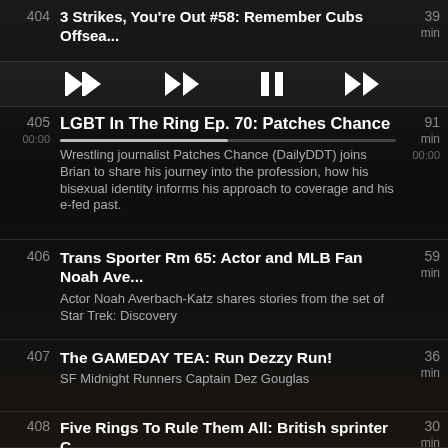404 3 Strikes, You're Out #58: Remember Cubs Offsea... 39 min
[Figure (other): Media playback controls: rewind, pause, fast-forward buttons]
405 LGBT In The Ring Ep. 70: Patches Chance 91 min 00:00 00:00 Wrestling journalist Patches Chance (DailyDDT) joins Brian to share his journey into the profession, how his bisexual identity informs his approach to coverage and his e-fed past.
406 Trans Sporter Rm 65: Actor and MLB Fan Noah Ave... 59 min Actor Noah Averbach-Katz shares stories from the set of Star Trek: Discovery
407 The GAMEDAY TEA: Run Dezzy Run! 36 min SF Midnight Runners Captain Dez Gouglas
408 Five Rings To Rule Them All: British sprinter C... 30 min British sprinter Corinne Humphreys thinks empowering gay youth is paramount as she aims for a spot in Tokyo
409 The Sports Kiki Ep. 48: Matt Lynch on coming-ou... 36 min Alex speaks with Matt Lynch, the Division 1 men's